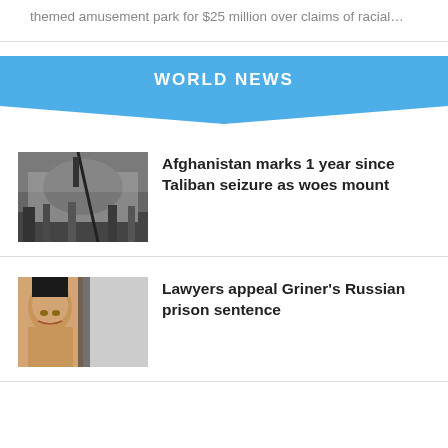themed amusement park for $25 million over claims of racial…
WORLD NEWS
[Figure (photo): Crowd of people, likely Afghanistan related news image]
Afghanistan marks 1 year since Taliban seizure as woes mount
[Figure (photo): Close-up portrait of a person, likely Brittney Griner]
Lawyers appeal Griner's Russian prison sentence